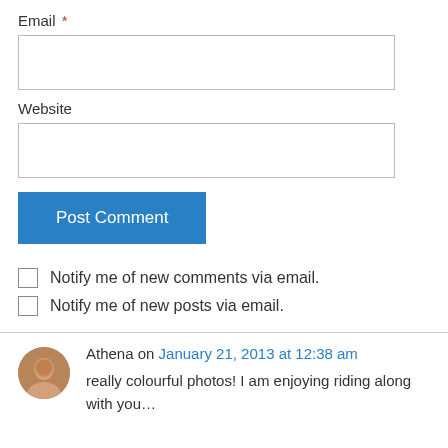Email *
[Figure (other): Empty email text input field with border]
Website
[Figure (other): Empty website text input field with border]
[Figure (other): Post Comment blue button]
Notify me of new comments via email.
Notify me of new posts via email.
Athena on January 21, 2013 at 12:38 am
really colourful photos! I am enjoying riding along with you…